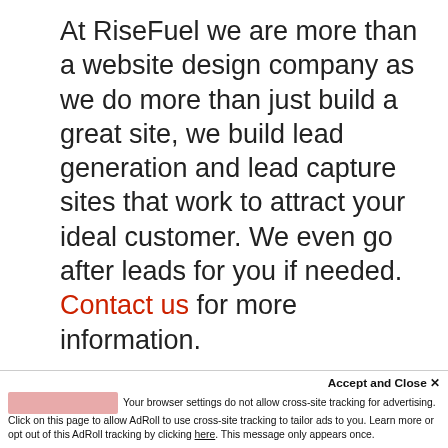At RiseFuel we are more than a website design company as we do more than just build a great site, we build lead generation and lead capture sites that work to attract your ideal customer. We even go after leads for you if needed. Contact us for more information.
This website uses cookies in order to improve and customize your browsing experience and for analytics and metrics about our visitors both on this website and other media. To find out more about the cookies we use, see our Privacy Policy.
Accept and Close ✕
Your browser settings do not allow cross-site tracking for advertising. Click on this page to allow AdRoll to use cross-site tracking to tailor ads to you. Learn more or opt out of this AdRoll tracking by clicking here. This message only appears once.